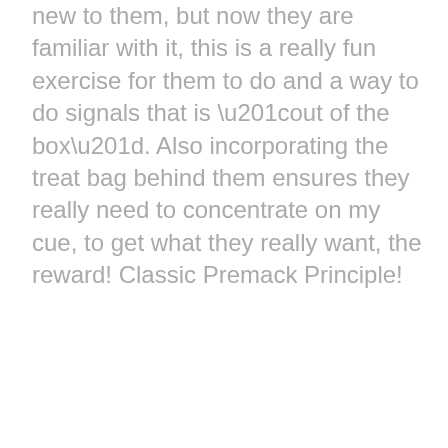new to them, but now they are familiar with it, this is a really fun exercise for them to do and a way to do signals that is “out of the box”. Also incorporating the treat bag behind them ensures they really need to concentrate on my cue, to get what they really want, the reward! Classic Premack Principle!